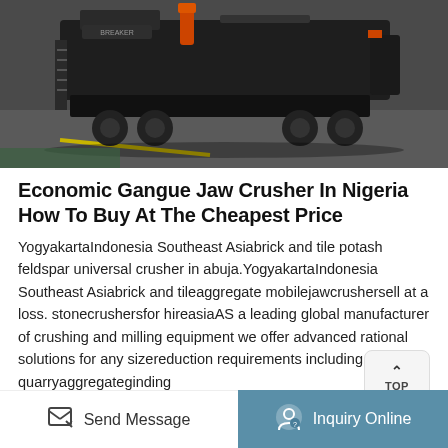[Figure (photo): Heavy industrial mobile jaw crusher machine on a truck chassis, photographed in a warehouse or factory floor with green painted ground markings visible.]
Economic Gangue Jaw Crusher In Nigeria How To Buy At The Cheapest Price
YogyakartaIndonesia Southeast Asiabrick and tile potash feldspar universal crusher in abuja.YogyakartaIndonesia Southeast Asiabrick and tileaggregate mobilejawcrushersell at a loss. stonecrushersfor hireasiaAS a leading global manufacturer of crushing and milling equipment we offer advanced rational solutions for any sizereduction requirements including quarryaggregateginding